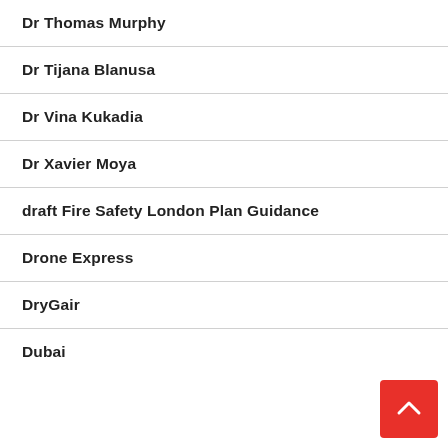Dr Thomas Murphy
Dr Tijana Blanusa
Dr Vina Kukadia
Dr Xavier Moya
draft Fire Safety London Plan Guidance
Drone Express
DryGair
Dubai